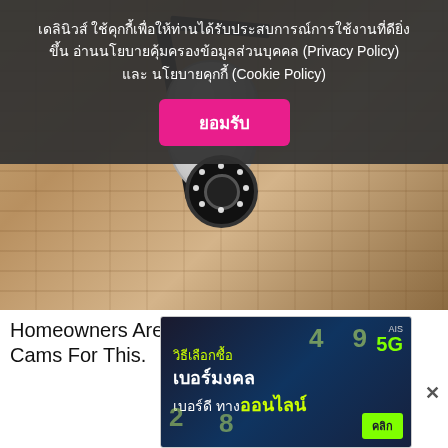[Figure (screenshot): Cookie consent overlay banner in Thai language on dark semi-transparent background with pink accept button.]
เดลินิวส์ ใช้คุกกี้เพื่อให้ท่านได้รับประสบการณ์การใช้งานที่ดียิ่งขึ้น อ่านนโยบายคุ้มครองข้อมูลส่วนบุคคล (Privacy Policy) และ นโยบายคุกกี้ (Cookie Policy)
ยอมรับ
[Figure (photo): Security camera mounted on a wall bracket with LED lights around a circular lens, mounted on a brick/stucco wall.]
Homeowners Are Trading In Their Doorbell Cams For This.
[Figure (screenshot): AIS 5G advertisement banner in Thai: วิธีเลือกซื้อเบอร์มงคล เบอร์ดี ทางออนไลน์ with คลิก button.]